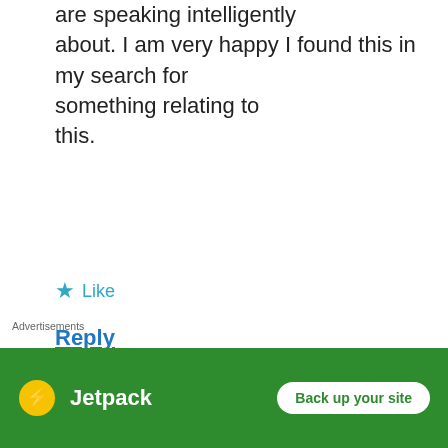are speaking intelligently about. I am very happy I found this in my search for something relating to this.
★ Like
Reply
[Figure (infographic): Yellow advertisement banner: 'Share, Discuss, Collaborate, P2.' with WordPress logo and 'Powered by' text]
trajes de novia a1nB How for more
[Figure (infographic): Green Jetpack advertisement banner with 'Back up your site' button]